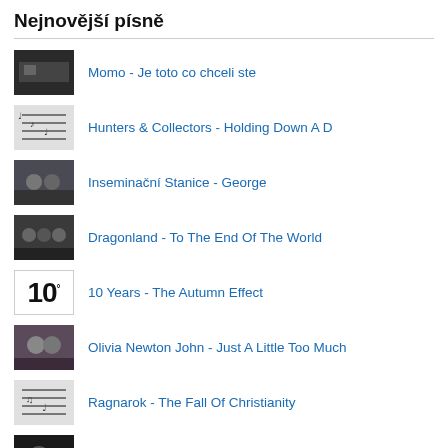Nejnovější písně
Momo - Je toto co chceli ste
Hunters & Collectors - Holding Down A D
Inseminační Stanice - George
Dragonland - To The End Of The World
10 Years - The Autumn Effect
Olivia Newton John - Just A Little Too Much
Ragnarok - The Fall Of Christianity
Chumbawamba - Naming names
Bon Jovi - 99 in the Shade
DEAD KENNEDYS - Cesspools In Eden
Naposledy zobrazené písně
Flaming Lips - Maximum Dream For Evil Knievel